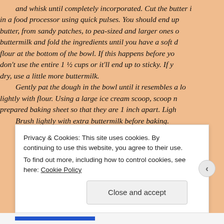in a large mixing bowl, combine the flour, sugar, baking powder, salt and whisk until completely incorporated. Cut the butter into the flour in a food processor using quick pulses. You should end up with bits of butter, from sandy patches, to pea-sized and larger ones of butter. Add buttermilk and fold the ingredients until you have a soft dough with no flour at the bottom of the bowl. If this happens before you've added it all, don't use the entire 1 ½ cups or it'll end up to sticky. If your dough is dry, use a little more buttermilk.
    Gently pat the dough in the bowl until it resembles a log. Dust lightly with flour. Using a large ice cream scoop, scoop mounds on the prepared baking sheet so that they are 1 inch apart. Lightly dust tops.
    Brush lightly with extra buttermilk before baking.
Privacy & Cookies: This site uses cookies. By continuing to use this website, you agree to their use.
To find out more, including how to control cookies, see here: Cookie Policy